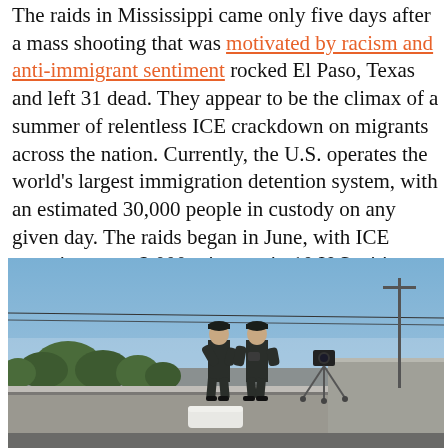The raids in Mississippi came only five days after a mass shooting that was motivated by racism and anti-immigrant sentiment rocked El Paso, Texas and left 31 dead. They appear to be the climax of a summer of relentless ICE crackdown on migrants across the nation. Currently, the U.S. operates the world's largest immigration detention system, with an estimated 30,000 people in custody on any given day. The raids began in June, with ICE targeting up to 2,000 migrants in 10 U.S. cities.
[Figure (photo): Two law enforcement officers in dark uniforms and caps standing on a rooftop with a camera on a tripod, overlooking an area with trees and buildings in the background under a blue sky.]